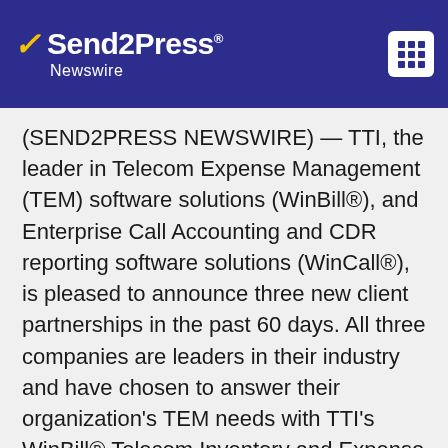Send2Press Newswire
(SEND2PRESS NEWSWIRE) — TTI, the leader in Telecom Expense Management (TEM) software solutions (WinBill®), and Enterprise Call Accounting and CDR reporting software solutions (WinCall®), is pleased to announce three new client partnerships in the past 60 days. All three companies are leaders in their industry and have chosen to answer their organization's TEM needs with TTI's WinBill® Telecom Inventory and Expense Management Software solution.